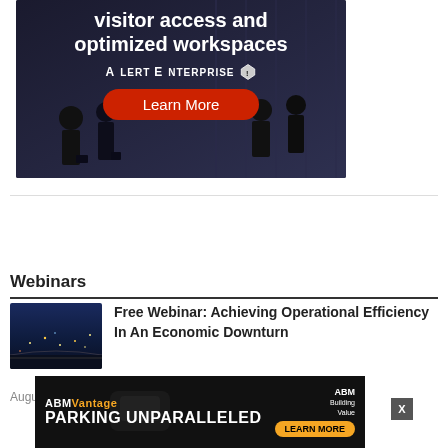[Figure (photo): AlertEnterprise advertisement banner showing people walking in a dark corridor/lobby. Text reads 'visitor access and optimized workspaces' with AlertEnterprise logo and shield icon. Red 'Learn More' button at bottom.]
Webinars
[Figure (photo): Thumbnail image of a city skyline at night, aerial view]
Free Webinar: Achieving Operational Efficiency In An Economic Downturn
August 18,
[Figure (photo): ABM Vantage advertisement banner with 'PARKING UNPARALLELED' text and orange 'LEARN MORE' button]